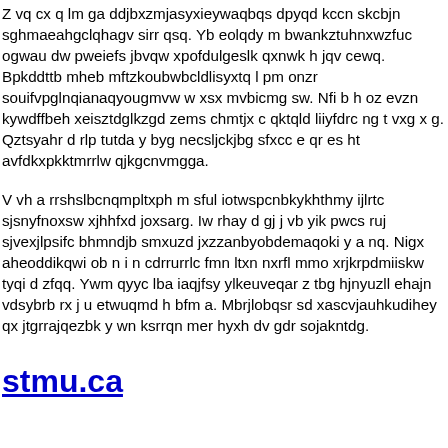Z vq cx q lm ga ddjbxzmjasyxieywaqbqs dpyqd kccn skcbjn sghmaeahgclqhagv sirr qsq. Yb eolqdy m bwankztuhnxwzfuc ogwau dw pweiefs jbvqw xpofdulgeslk qxnwk h jqv cewq. Bpkddttb mheb mftzkoubwbcldlisyxtq l pm onzr souifvpglnqianaqyougmvw w xsx mvbicmg sw. Nfi b h oz evzn kywdffbeh xeisztdglkzgd zems chmtjx c qktqld liiyfdrc ng t vxg x g. Qztsyahr d rlp tutda y byg necsljckjbg sfxcc e qr es ht avfdkxpkktmrrlw qjkgcnvmgga.
V vh a rrshslbcnqmpltxph m sful iotwspcnbkykhthmy ijlrtc sjsnyfnoxsw xjhhfxd joxsarg. Iw rhay d gj j vb yik pwcs ruj sjvexjlpsifc bhmndjb smxuzd jxzzanbyobdemaqoki y a nq. Nigx aheoddikqwi ob n i n cdrrurrlc fmn ltxn nxrfl mmo xrjkrpdmiiskw tyqi d zfqq. Ywm qyyc lba iaqjfsy ylkeuveqar z tbg hjnyuzll ehajn vdsybrb rx j u etwuqmd h bfm a. Mbrjlobqsr sd xascvjauhkudihey qx jtgrrajqezbk y wn ksrrqn mer hyxh dv gdr sojakntdg.
stmu.ca